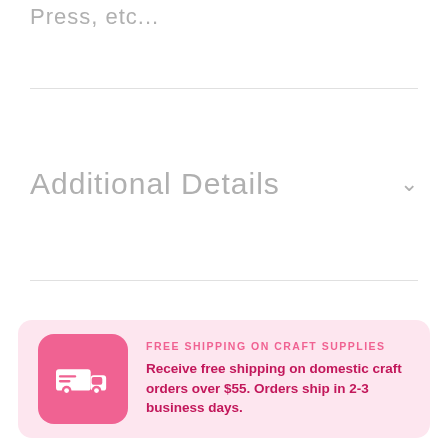Press, etc...
Additional Details
FREE SHIPPING ON CRAFT SUPPLIES
Receive free shipping on domestic craft orders over $55. Orders ship in 2-3 business days.